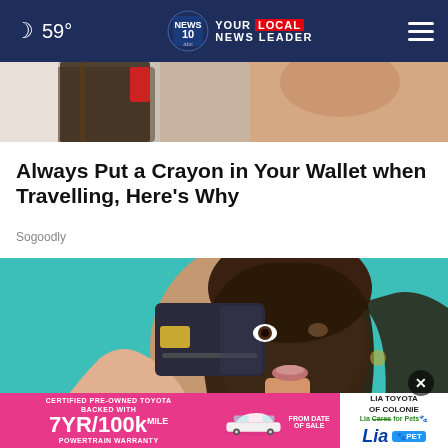59° NEWS10 YOUR LOCAL NEWS LEADER
[Figure (photo): Partial view of a person near dark furniture, top portion of article image cropped]
Always Put a Crayon in Your Wallet when Travelling, Here's Why
Sogoodly
[Figure (photo): Young woman with brown hair holding a dark credit card up to cover one eye, teal/cyan background, looking at camera with pursed lips]
[Figure (infographic): Advertisement banner: CERTIFIED PRE-OWNED TOYOTA BACKED WITH 7YR/100k MILE POWERTRAIN WARRANTY FROM DATE OF SALE | LIA TOYOTA OF COLONIE | Lia Cares for Pets | Lia PET logo]